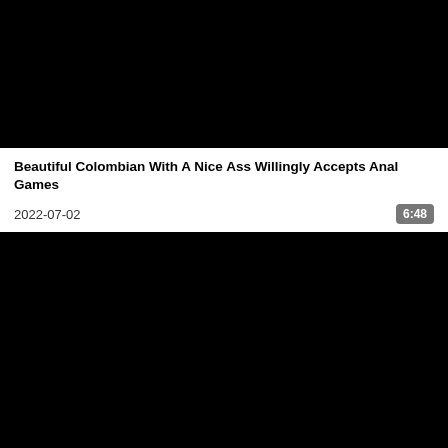[Figure (photo): Black thumbnail image for a video]
Beautiful Colombian With A Nice Ass Willingly Accepts Anal Games
2022-07-02
6:48
[Figure (photo): Black thumbnail image for a second video]
Horny Venezuelan Gets Her Ass Rubbed And Penetrated By Her